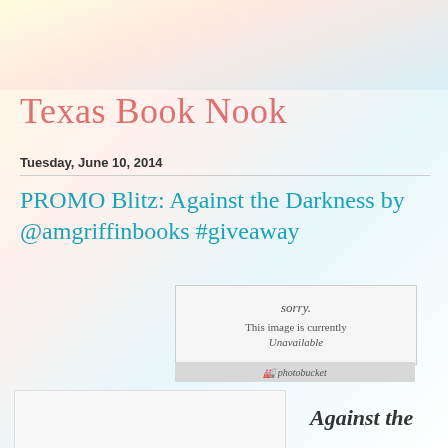Texas Book Nook
Tuesday, June 10, 2014
PROMO Blitz: Against the Darkness by @amgriffinbooks #giveaway
[Figure (screenshot): Broken image placeholder with text 'sorry. This image is currently Unavailable' and Photobucket logo bar]
[Figure (photo): Partially visible book cover image at bottom left]
Against the